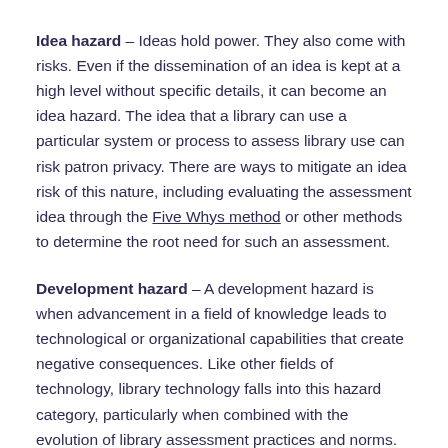Idea hazard – Ideas hold power. They also come with risks. Even if the dissemination of an idea is kept at a high level without specific details, it can become an idea hazard. The idea that a library can use a particular system or process to assess library use can risk patron privacy. There are ways to mitigate an idea risk of this nature, including evaluating the assessment idea through the Five Whys method or other methods to determine the root need for such an assessment.
Development hazard – A development hazard is when advancement in a field of knowledge leads to technological or organizational capabilities that create negative consequences. Like other fields of technology, library technology falls into this hazard category, particularly when combined with the evolution of library assessment practices and norms. Sharing code and